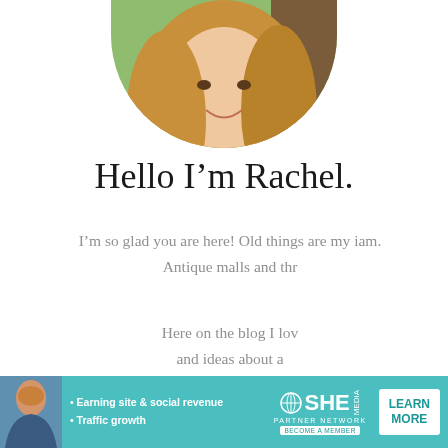[Figure (photo): Circular profile photo of a woman with long blonde hair wearing a teal and orange patterned top, photographed outdoors near a tree]
Hello I'm Rachel.
I'm so glad you are here! Old things are my iam. Antique malls and thr
Here on the blog I lov and ideas about a
[Figure (illustration): Decorative cursive swirl/flourish at the bottom of the page]
[Figure (infographic): SHE Partner Network advertisement banner with teal background, showing a woman's photo, bullet points 'Earning site & social revenue' and 'Traffic growth', SHE Partner Network logo, and a 'LEARN MORE' button]